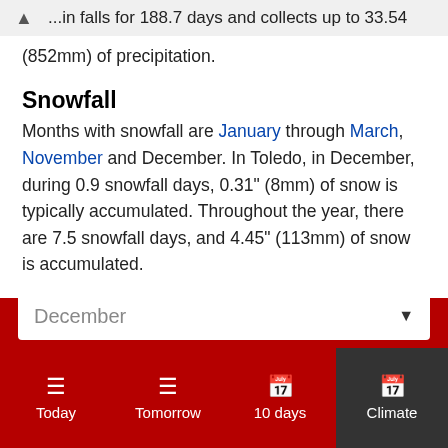...in falls for 188.7 days and collects up to 33.54 (852mm) of precipitation.
Snowfall
Months with snowfall are January through March, November and December. In Toledo, in December, during 0.9 snowfall days, 0.31" (8mm) of snow is typically accumulated. Throughout the year, there are 7.5 snowfall days, and 4.45" (113mm) of snow is accumulated.
December
Today
Tomorrow
10 days
Climate